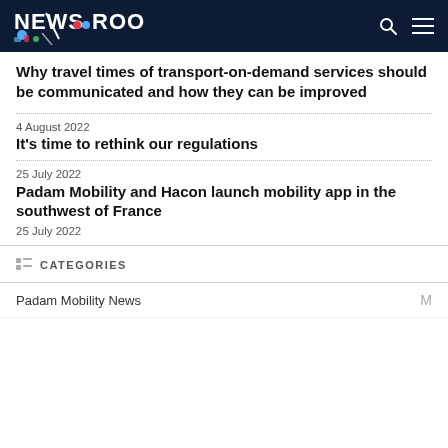NEWSROOM
Why travel times of transport-on-demand services should be communicated and how they can be improved
4 August 2022
It's time to rethink our regulations
25 July 2022
Padam Mobility and Hacon launch mobility app in the southwest of France
25 July 2022
CATEGORIES
Padam Mobility News